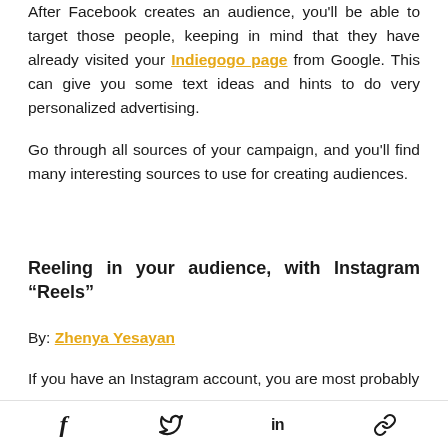After Facebook creates an audience, you'll be able to target those people, keeping in mind that they have already visited your Indiegogo page from Google. This can give you some text ideas and hints to do very personalized advertising.
Go through all sources of your campaign, and you'll find many interesting sources to use for creating audiences.
Reeling in your audience, with Instagram “Reels”
By: Zhenya Yesayan
If you have an Instagram account, you are most probably
f  ✓  in  🔗